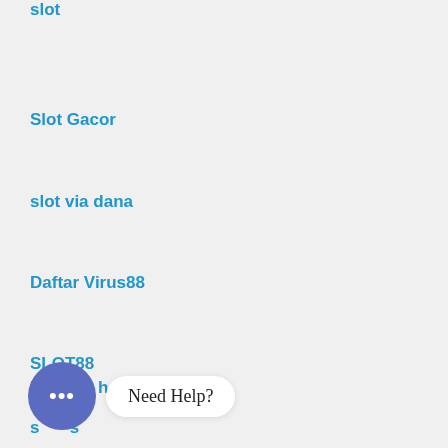slot
Slot Gacor
slot via dana
Daftar Virus88
SLOT88
Rtp slot hari ini
s...s
[Figure (other): Chat widget with speech bubble icon and 'Need Help?' tooltip]